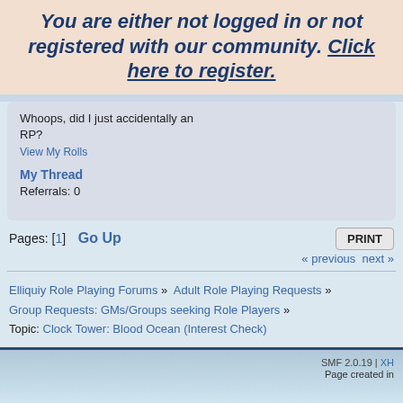You are either not logged in or not registered with our community. Click here to register.
Whoops, did I just accidentally an RP?
View My Rolls
My Thread
Referrals: 0
Pages: [1]  Go Up                                           PRINT
« previous  next »
Elliquiy Role Playing Forums » Adult Role Playing Requests » Group Requests: GMs/Groups seeking Role Players »
Topic: Clock Tower: Blood Ocean (Interest Check)
Jump to: => Group Requests: GMs/Groups seeking Role Players  go
SMF 2.0.19 | XH
Page created in